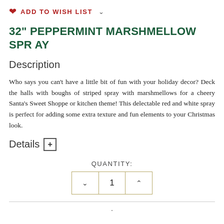♥ ADD TO WISH LIST ∨
32" PEPPERMINT MARSHMELLOW SPRAY
Description
Who says you can't have a little bit of fun with your holiday decor? Deck the halls with boughs of striped spray with marshmellows for a cheery Santa's Sweet Shoppe or kitchen theme! This delectable red and white spray is perfect for adding some extra texture and fun elements to your Christmas look.
Details +
QUANTITY: 1